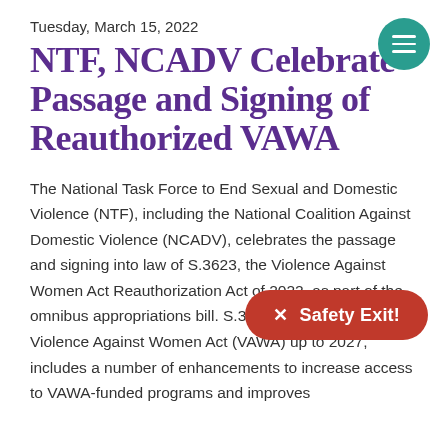Tuesday, March 15, 2022
NTF, NCADV Celebrate Passage and Signing of Reauthorized VAWA
The National Task Force to End Sexual and Domestic Violence (NTF), including the National Coalition Against Domestic Violence (NCADV), celebrates the passage and signing into law of S.3623, the Violence Against Women Act Reauthorization Act of 2022, as part of the omnibus appropriations bill. S.3... Violence Against Women Act (VAWA) up to 2027, includes a number of enhancements to increase access to VAWA-funded programs and improves
[Figure (other): Teal circular hamburger menu button in top-right corner]
[Figure (other): Red rounded Safety Exit button overlaying the body text]